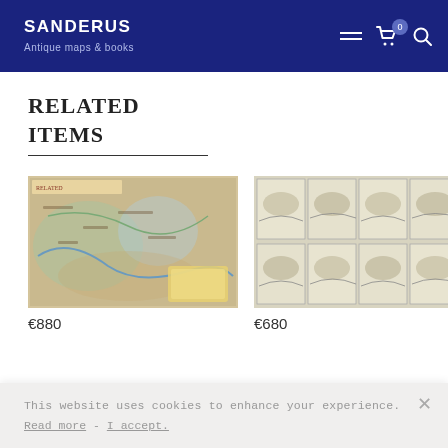SANDERUS Antique maps & books
RELATED ITEMS
[Figure (photo): Antique map product image, colorful historical map]
€880
[Figure (photo): Grid of antique battle scene engravings, multiple small panels]
€680
This website uses cookies to enhance your experience. Read more - I accept.